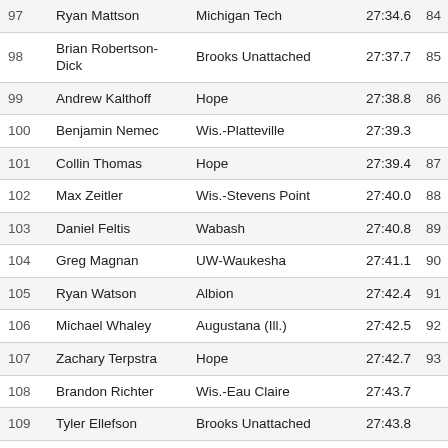| Place | Name | Team | Time | Pts |
| --- | --- | --- | --- | --- |
| 97 | Ryan Mattson | Michigan Tech | 27:34.6 | 84 |
| 98 | Brian Robertson-Dick | Brooks Unattached | 27:37.7 | 85 |
| 99 | Andrew Kalthoff | Hope | 27:38.8 | 86 |
| 100 | Benjamin Nemec | Wis.-Platteville | 27:39.3 |  |
| 101 | Collin Thomas | Hope | 27:39.4 | 87 |
| 102 | Max Zeitler | Wis.-Stevens Point | 27:40.0 | 88 |
| 103 | Daniel Feltis | Wabash | 27:40.8 | 89 |
| 104 | Greg Magnan | UW-Waukesha | 27:41.1 | 90 |
| 105 | Ryan Watson | Albion | 27:42.4 | 91 |
| 106 | Michael Whaley | Augustana (Ill.) | 27:42.5 | 92 |
| 107 | Zachary Terpstra | Hope | 27:42.7 | 93 |
| 108 | Brandon Richter | Wis.-Eau Claire | 27:43.7 |  |
| 109 | Tyler Ellefson | Brooks Unattached | 27:43.8 |  |